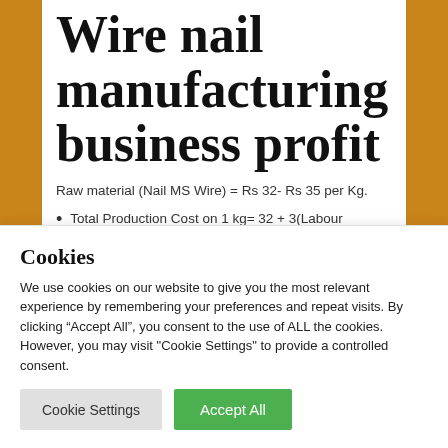Wire nail manufacturing business profit
Raw material (Nail MS Wire) = Rs 32- Rs 35 per Kg.
Total Production Cost on 1 kg= 32 + 3(Labour +Electricity) = Rs 35 Selling Price in Market= 45Kg = 50kg
Cookies
We use cookies on our website to give you the most relevant experience by remembering your preferences and repeat visits. By clicking “Accept All”, you consent to the use of ALL the cookies. However, you may visit "Cookie Settings" to provide a controlled consent.
Cookie Settings | Accept All